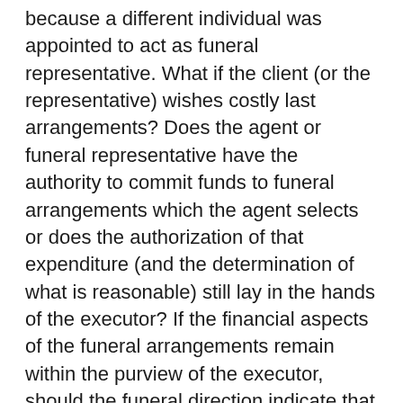because a different individual was appointed to act as funeral representative. What if the client (or the representative) wishes costly last arrangements? Does the agent or funeral representative have the authority to commit funds to funeral arrangements which the agent selects or does the authorization of that expenditure (and the determination of what is reasonable) still lay in the hands of the executor? If the financial aspects of the funeral arrangements remain within the purview of the executor, should the funeral direction indicate that the representative coordinate approval of expenditures with the executor (or trustee) or does the client wish the directives of the representative to be binding upon the estate (or trust)?